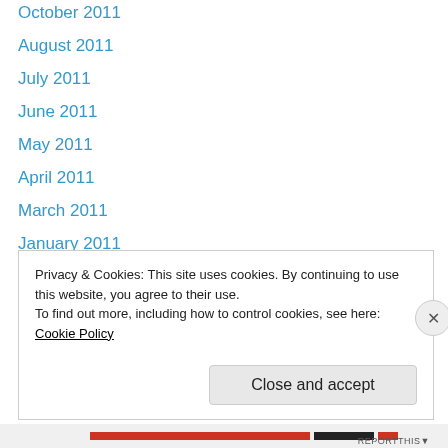October 2011
August 2011
July 2011
June 2011
May 2011
April 2011
March 2011
January 2011
December 2010
November 2010
October 2010
September 2010
July 2010
June 2010
Privacy & Cookies: This site uses cookies. By continuing to use this website, you agree to their use.
To find out more, including how to control cookies, see here: Cookie Policy
Close and accept